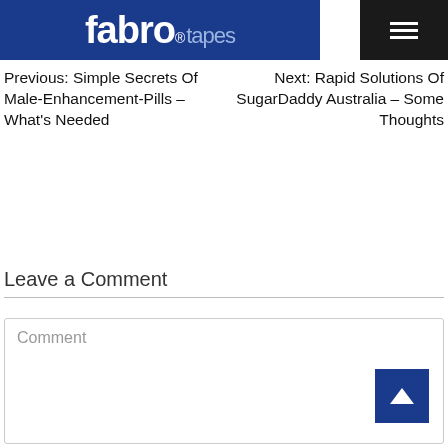[Figure (logo): Fabro Tapes logo on dark blue background with hamburger menu icon]
Previous: Simple Secrets Of Male-Enhancement-Pills – What's Needed
Next: Rapid Solutions Of SugarDaddy Australia – Some Thoughts
Leave a Comment
Comment